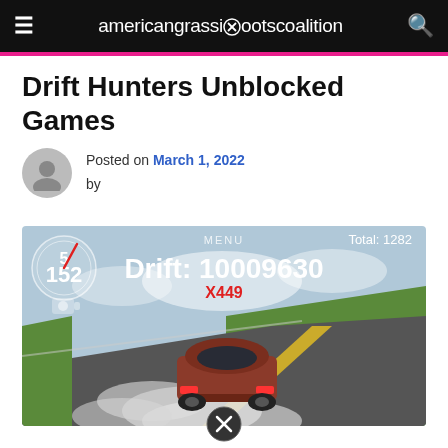americangrassrootscoalition
Drift Hunters Unblocked Games
Posted on March 1, 2022 by
[Figure (screenshot): Drift Hunters game screenshot showing a red/brown car drifting on a road with smoke, speedometer showing 152, drift score 10009630, multiplier X449, total 1282]